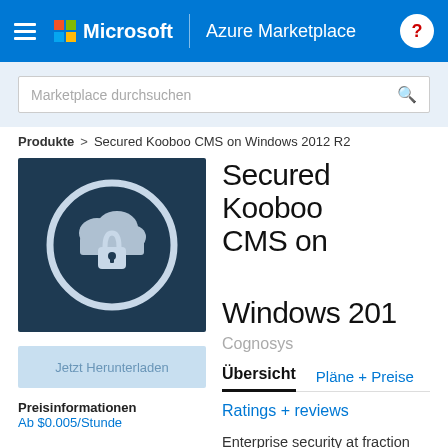Microsoft | Azure Marketplace
Marketplace durchsuchen
Produkte > Secured Kooboo CMS on Windows 2012 R2
[Figure (logo): Dark blue square icon with a cloud and padlock symbol inside a circle]
Secured Kooboo CMS on Windows 2012 R2
Cognosys
Übersicht   Pläne + Preise
Ratings + reviews
Enterprise security at fraction (< 1 cent
Jetzt Herunterladen
Preisinformationen
Ab $0.005/Stunde